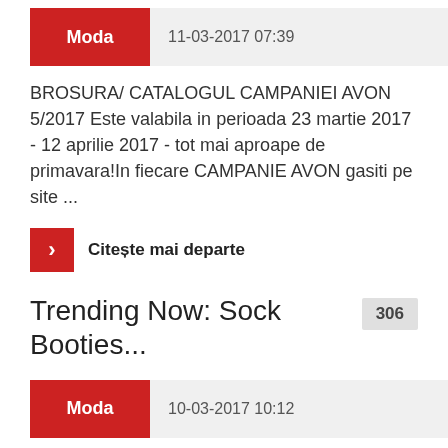Moda  11-03-2017 07:39
BROSURA/ CATALOGUL CAMPANIEI AVON 5/2017 Este valabila in perioada 23 martie 2017 - 12 aprilie 2017 - tot mai aproape de primavara!In fiecare CAMPANIE AVON gasiti pe site ...
Citește mai departe
Trending Now: Sock Booties...
306
Moda  10-03-2017 10:12
...